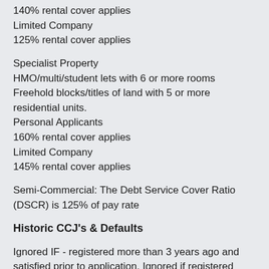140% rental cover applies
Limited Company
125% rental cover applies
Specialist Property
HMO/multi/student lets with 6 or more rooms
Freehold blocks/titles of land with 5 or more residential units.
Personal Applicants
160% rental cover applies
Limited Company
145% rental cover applies
Semi-Commercial: The Debt Service Cover Ratio (DSCR) is 125% of pay rate
Historic CCJ's & Defaults
Ignored IF - registered more than 3 years ago and satisfied prior to application. Ignored if registered